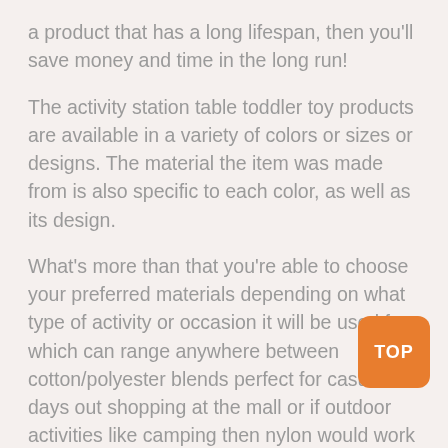a product that has a long lifespan, then you'll save money and time in the long run!
The activity station table toddler toy products are available in a variety of colors or sizes or designs. The material the item was made from is also specific to each color, as well as its design.
What's more than that you're able to choose your preferred materials depending on what type of activity or occasion it will be used for which can range anywhere between cotton/polyester blends perfect for casual days out shopping at the mall or if outdoor activities like camping then nylon would work perfectly fine too without having any problems getting wet so there won't be any hassle when heading outside during those times where rain comes down around town.
So you should read more key features of these